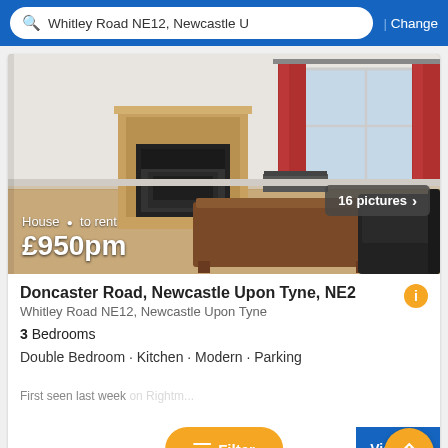Whitley Road NE12, Newcastle U | Change
[Figure (photo): Interior photo of a living room with wooden fireplace, coffee table, black leather sofa, wooden floor, and red curtains with window. Overlay text: House · to rent £950pm. Badge: 16 pictures >]
Doncaster Road, Newcastle Upon Tyne, NE2
Whitley Road NE12, Newcastle Upon Tyne
3 Bedrooms
Double Bedroom · Kitchen · Modern · Parking
First seen last week on Rightmove